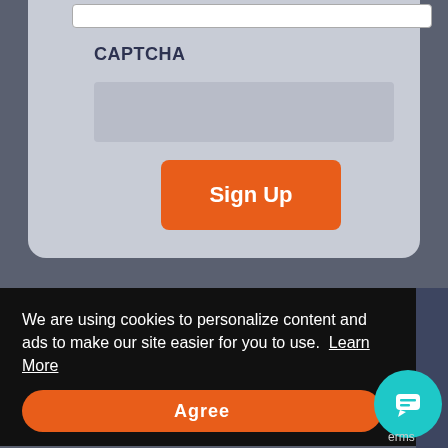CAPTCHA
[Figure (screenshot): Sign Up button — orange rounded rectangle with white bold text 'Sign Up']
We are using cookies to personalize content and ads to make our site easier for you to use.  Learn More
[Figure (screenshot): Agree button — orange pill-shaped button with white bold text 'Agree']
[Figure (screenshot): Teal circular chat bubble icon in bottom right corner]